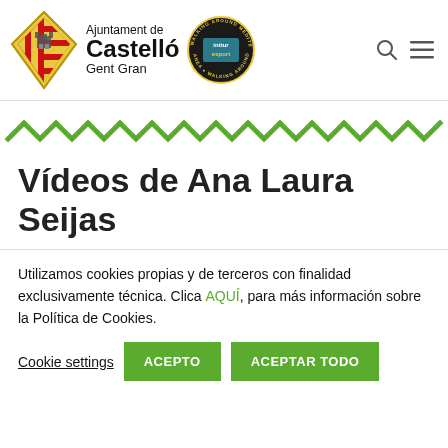[Figure (logo): Ajuntament de Castelló Gent Gran header with coat of arms, text logo, Walking Around Mediterranea badge, search icon and hamburger menu]
[Figure (illustration): Green zigzag/chevron decorative divider line spanning full width]
Vídeos de Ana Laura Seijas
Utilizamos cookies propias y de terceros con finalidad exclusivamente técnica. Clica AQUÍ, para más información sobre la Política de Cookies.
Cookie settings  ACEPTO  ACEPTAR TODO